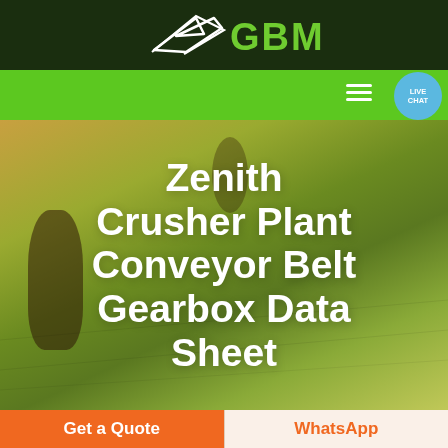[Figure (logo): GBM logo with green text and arrow/leaf icon on dark green background]
[Figure (screenshot): Green navigation bar with hamburger menu icon and live chat bubble]
[Figure (photo): Aerial photo of rolling green and golden farmland with a dark cypress tree on the left]
Zenith Crusher Plant Conveyor Belt Gearbox Data Sheet
Get a Quote
WhatsApp